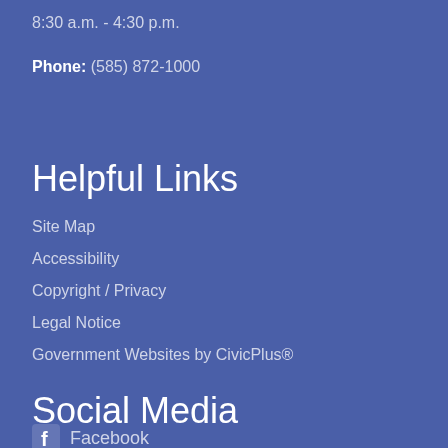8:30 a.m. - 4:30 p.m.
Phone: (585) 872-1000
Helpful Links
Site Map
Accessibility
Copyright / Privacy
Legal Notice
Government Websites by CivicPlus®
Social Media
Facebook